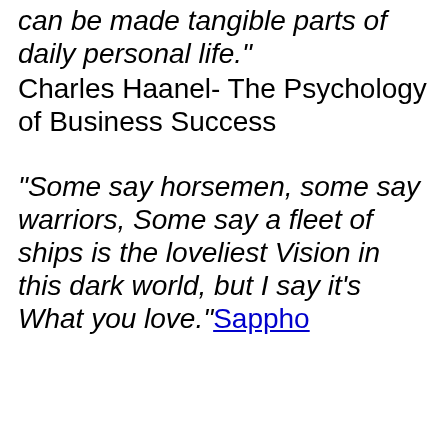can be made tangible parts of daily personal life."
Charles Haanel- The Psychology of Business Success
"Some say horsemen, some say warriors, Some say a fleet of ships is the loveliest Vision in this dark world, but I say it’s What you love." Sappho